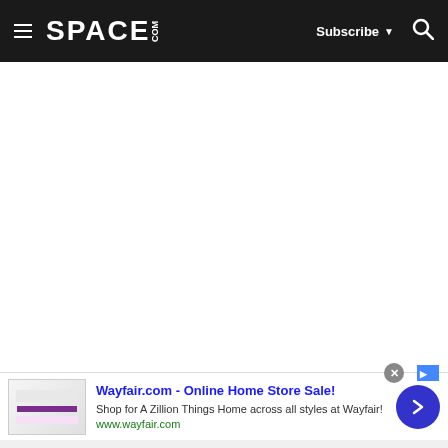SPACE.com — Subscribe — Search navigation bar
[Figure (screenshot): White blank content area below navigation]
[Figure (screenshot): Advertisement banner: Wayfair.com - Online Home Store Sale! Shop for A Zillion Things Home across all styles at Wayfair! www.wayfair.com, with close button and navigation arrow]
Gray footer strip